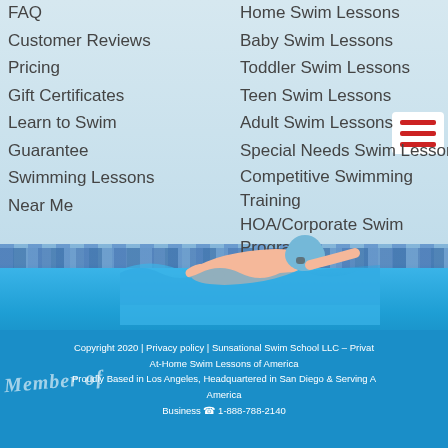FAQ
Customer Reviews
Pricing
Gift Certificates
Learn to Swim Guarantee
Swimming Lessons Near Me
Home Swim Lessons
Baby Swim Lessons
Toddler Swim Lessons
Teen Swim Lessons
Adult Swim Lessons
Special Needs Swim Lessons
Competitive Swimming Training
HOA/Corporate Swim Programs
[Figure (illustration): Swimmer doing freestyle stroke in a pool with blue tile border and water]
Copyright 2020 | Privacy policy | Sunsational Swim School LLC – Private At-Home Swim Lessons of America
Proudly Based in Los Angeles, Headquartered in San Diego & Serving All of America
Business 📞 1-888-788-2140